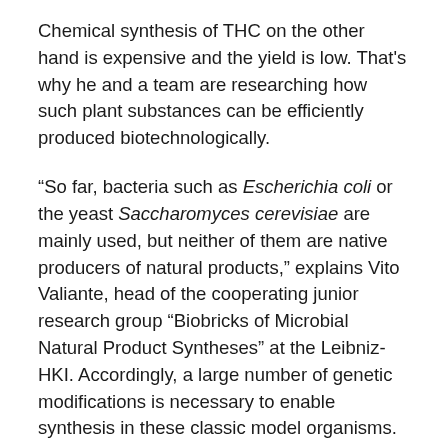Chemical synthesis of THC on the other hand is expensive and the yield is low. That's why he and a team are researching how such plant substances can be efficiently produced biotechnologically.
“So far, bacteria such as Escherichia coli or the yeast Saccharomyces cerevisiae are mainly used, but neither of them are native producers of natural products,” explains Vito Valiante, head of the cooperating junior research group “Biobricks of Microbial Natural Product Syntheses” at the Leibniz-HKI. Accordingly, a large number of genetic modifications is necessary to enable synthesis in these classic model organisms. The research team is thus looking for alternatives. One promising candidate is the amoeba Dictyostelium discoideum, which already possesses numerous biosynthetic genes for the production of natural products such as polyketides. “Taking a closer look at the genes, we noticed that some show a high similarity to